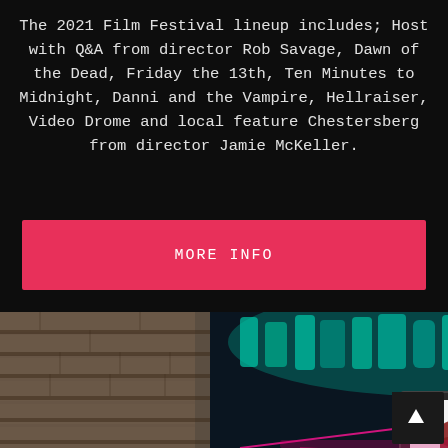The 2021 Film Festival lineup includes; Host with Q&A from director Rob Savage, Dawn of the Dead, Friday the 13th, Ten Minutes to Midnight, Danni and the Vampire, Hellraiser, Video Drome and local feature Chestersberg from director Jamie McKeller.
[Figure (other): A pink/red button with white text reading MORE INFO]
[Figure (photo): Horror-themed illustrated mural on a brick wall background showing monster characters surrounding a child sitting in front of a vintage TV with pink laser beams; a scroll-to-top arrow button is in the bottom right corner.]